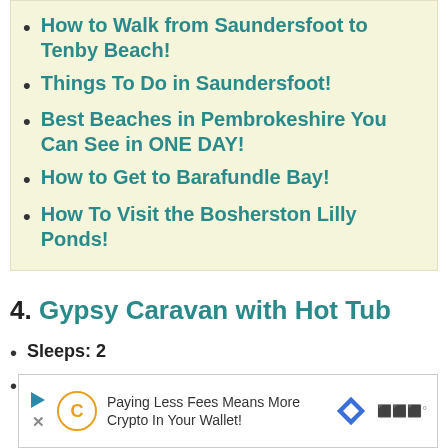How to Walk from Saundersfoot to Tenby Beach!
Things To Do in Saundersfoot!
Best Beaches in Pembrokeshire You Can See in ONE DAY!
How to Get to Barafundle Bay!
How To Visit the Bosherston Lilly Ponds!
4. Gypsy Caravan with Hot Tub
Sleeps: 2
Location: Templeton
[Figure (other): Advertisement banner: Paying Less Fees Means More Crypto In Your Wallet!]